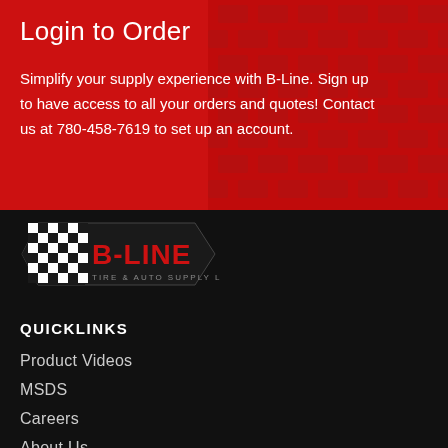Login to Order
Simplify your supply experience with B-Line. Sign up to have access to all your orders and quotes! Contact us at 780-458-7619 to set up an account.
[Figure (logo): B-Line Tire & Auto Supply Ltd. logo with checkered flag design]
QUICKLINKS
Product Videos
MSDS
Careers
About Us
TPMS Look-up